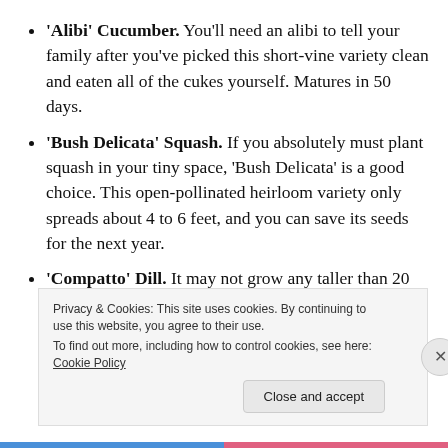'Alibi' Cucumber. You'll need an alibi to tell your family after you've picked this short-vine variety clean and eaten all of the cukes yourself. Matures in 50 days.
'Bush Delicata' Squash. If you absolutely must plant squash in your tiny space, 'Bush Delicata' is a good choice. This open-pollinated heirloom variety only spreads about 4 to 6 feet, and you can save its seeds for the next year.
'Compatto' Dill. It may not grow any taller than 20 inches, but 'Compatto' will deliver the dill
Privacy & Cookies: This site uses cookies. By continuing to use this website, you agree to their use. To find out more, including how to control cookies, see here: Cookie Policy
Close and accept